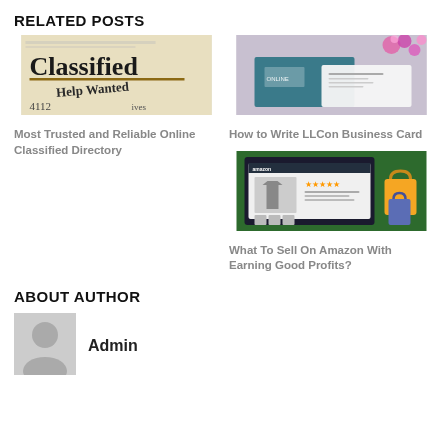RELATED POSTS
[Figure (photo): Classified newspaper clipping showing 'Classified' heading and 'Help Wanted' text]
Most Trusted and Reliable Online Classified Directory
[Figure (photo): Business cards with teal/blue design and flowers, on wooden surface]
How to Write LLCon Business Card
[Figure (photo): Amazon seller page illustration with t-shirt product, stars rating, and shopping bags]
What To Sell On Amazon With Earning Good Profits?
ABOUT AUTHOR
[Figure (photo): Author avatar/profile placeholder icon]
Admin